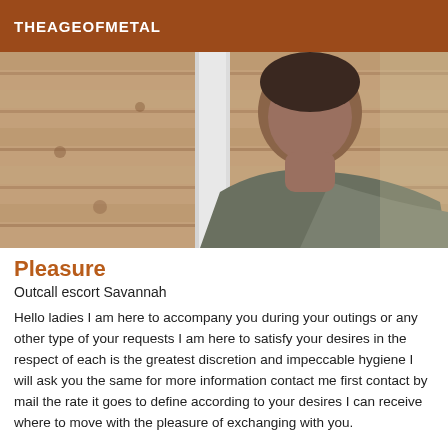THEAGEOFMETAL
[Figure (photo): A man leaning against a white door frame inside a wood-paneled room, looking down at the camera. He is wearing a grey t-shirt.]
Pleasure
Outcall escort Savannah
Hello ladies I am here to accompany you during your outings or any other type of your requests I am here to satisfy your desires in the respect of each is the greatest discretion and impeccable hygiene I will ask you the same for more information contact me first contact by mail the rate it goes to define according to your desires I can receive where to move with the pleasure of exchanging with you.